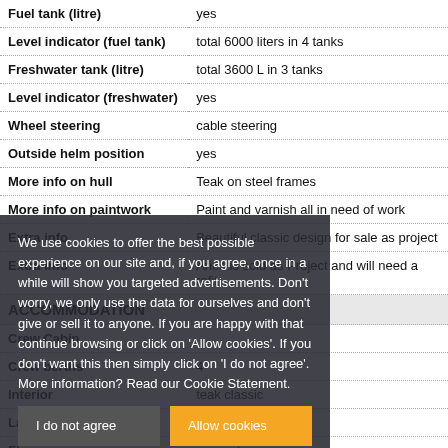| Feature | Value |
| --- | --- |
| Fuel tank (litre) | yes |
| Level indicator (fuel tank) | total 6000 liters in 4 tanks |
| Freshwater tank (litre) | total 3600 L in 3 tanks |
| Level indicator (freshwater) | yes |
| Wheel steering | cable steering |
| Outside helm position | yes |
| More info on hull | Teak on steel frames |
| More info on paintwork | Paint and varnish all in need of work |
| Extra info | Beautiful classic design for sale as project |
| Extra info | Aries is sold as Project and will need a refit |
| ACCOMMODATION |  |
| Crew Cabin |  |
| Crew berths | 4 |
| Interior | teak  classic |
| Layout | Owner with crew |
| Floor | parquet |
| Aft deck | with large social seating |
We use cookies to offer the best possible experience on our site and, if you agree, once in a while will show you targeted advertisements. Don't worry, we only use the data for ourselves and don't give or sell it to anyone. If you are happy with that continue browsing or click on 'Allow cookies'. If you don't want this then simply click on 'I do not agree'. More information? Read our Cookie Statement.